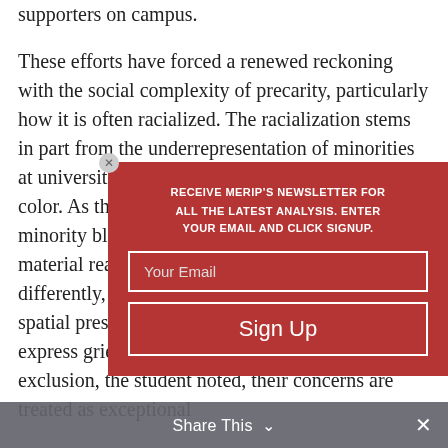supporters on campus.

These efforts have forced a renewed reckoning with the social complexity of precarity, particularly how it is often racialized. The racialization stems in part from the underrepresentation of minorities at universities in cities with large populations of color. As the aforementioned undergraduate noted, minority black students “have historical and material reasons not to feel safe” on campus. Put differently, precarity is etched into their mere spatial presence. Yet when students of color express grievances about racial discrimination and exclusion, the student noted, their concerns are treated as exceptional
[Figure (other): Newsletter signup popup overlay with red background. Heading: 'RECEIVE MERIP'S NEWSLETTER FOR ALL THE LATEST ANALYSIS. ENTER YOUR EMAIL AND CLICK SIGNUP.' An email input field labeled 'Your Email' and a 'Sign Up' button, both with white borders.]
Share This ∨  ×